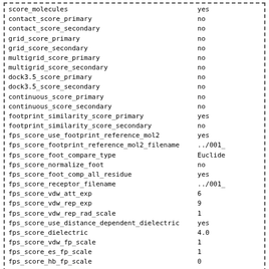| score_molecules | yes |
| contact_score_primary | no |
| contact_score_secondary | no |
| grid_score_primary | no |
| grid_score_secondary | no |
| multigrid_score_primary | no |
| multigrid_score_secondary | no |
| dock3.5_score_primary | no |
| dock3.5_score_secondary | no |
| continuous_score_primary | no |
| continuous_score_secondary | no |
| footprint_similarity_score_primary | yes |
| footprint_similarity_score_secondary | no |
| fps_score_use_footprint_reference_mol2 | yes |
| fps_score_footprint_reference_mol2_filename | ../001_ |
| fps_score_foot_compare_type | Euclide |
| fps_score_normalize_foot | no |
| fps_score_foot_comp_all_residue | yes |
| fps_score_receptor_filename | ../001_ |
| fps_score_vdw_att_exp | 6 |
| fps_score_vdw_rep_exp | 9 |
| fps_score_vdw_rep_rad_scale | 1 |
| fps_score_use_distance_dependent_dielectric | yes |
| fps_score_dielectric | 4.0 |
| fps_score_vdw_fp_scale | 1 |
| fps_score_es_fp_scale | 1 |
| fps_score_hb_fp_scale | 0 |
| pharmacophore_score_secondary | no |
| descriptor_score_secondary | no |
| gbsa_zou_score_secondary | no |
| gbsa_hawkins_score_secondary | no |
In order to execute the script:
| dock5 -i footprint.in -o footprint.out |  |